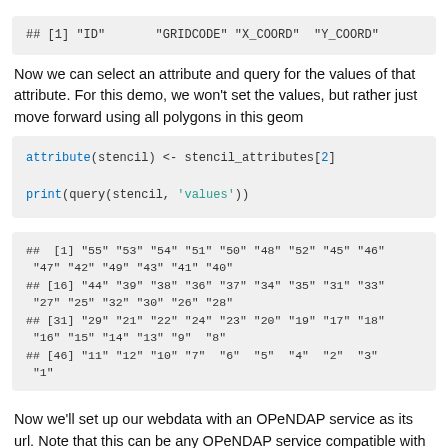[Figure (screenshot): Code output block showing: ## [1] "ID" "GRIDCODE" "X_COORD" "Y_COORD"]
Now we can select an attribute and query for the values of that attribute. For this demo, we won't set the values, but rather just move forward using all polygons in this geom
[Figure (screenshot): Code block with: attribute(stencil) <- stencil_attributes[2]
print(query(stencil, 'values'))]
[Figure (screenshot): Output block: ## [1] "55" "53" "54" "51" "50" "48" "52" "45" "46" "47" "42" "49" "43" "41" "40"
## [16] "44" "39" "38" "36" "37" "34" "35" "31" "33" "27" "25" "32" "30" "26" "28"
## [31] "29" "21" "22" "24" "23" "20" "19" "17" "18" "16" "15" "14" "13" "9" "8"
## [46] "11" "12" "10" "7" "6" "5" "4" "2" "3" "1"]
Now we'll set up our webdata with an OPeNDAP service as its url. Note that this can be any OPeNDAP service compatible with geoknife and the Geo Data Portal. What datasets are